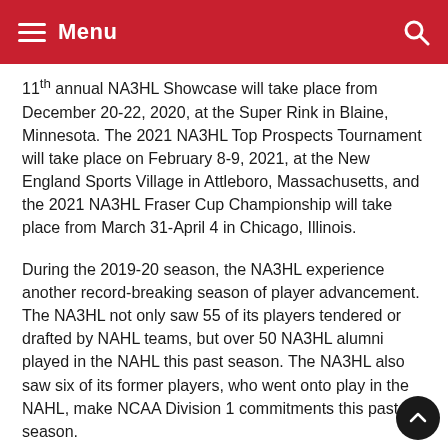Menu
11th annual NA3HL Showcase will take place from December 20-22, 2020, at the Super Rink in Blaine, Minnesota. The 2021 NA3HL Top Prospects Tournament will take place on February 8-9, 2021, at the New England Sports Village in Attleboro, Massachusetts, and the 2021 NA3HL Fraser Cup Championship will take place from March 31-April 4 in Chicago, Illinois.
During the 2019-20 season, the NA3HL experience another record-breaking season of player advancement. The NA3HL not only saw 55 of its players tendered or drafted by NAHL teams, but over 50 NA3HL alumni played in the NAHL this past season. The NA3HL also saw six of its former players, who went onto play in the NAHL, make NCAA Division 1 commitments this past season.